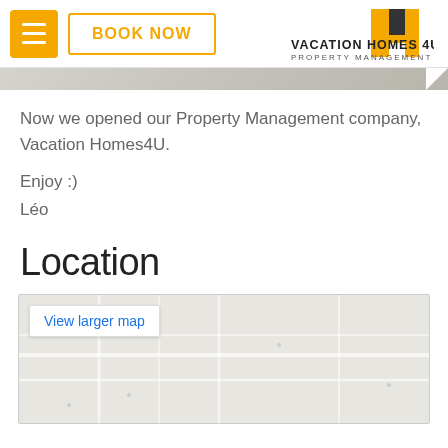[Figure (logo): Vacation Homes 4U Property Management logo with yellow/gold chevron icon and company name]
Now we opened our Property Management company, Vacation Homes4U.
Enjoy :)
Léo
Location
[Figure (map): Embedded Google map with 'View larger map' link button in top left corner, showing a light gray street map]